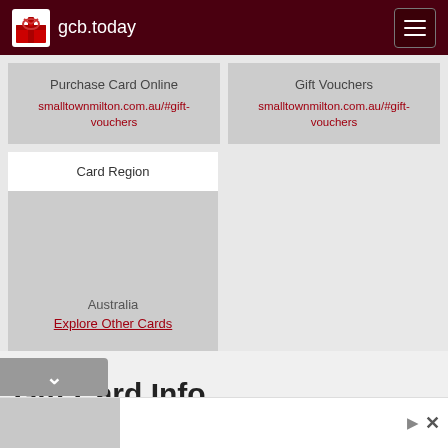gcb.today
Purchase Card Online
smalltownmilton.com.au/#gift-vouchers
Gift Vouchers
smalltownmilton.com.au/#gift-vouchers
Card Region
Australia
Explore Other Cards
Gift Card Info